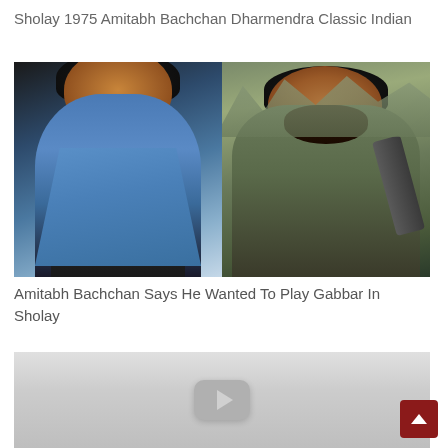Sholay 1975 Amitabh Bachchan Dharmendra Classic Indian
[Figure (photo): Side-by-side movie stills from Sholay (1975): left shows Amitabh Bachchan in a blue shirt; right shows Dharmendra with a beard holding a gun, in a village setting.]
Amitabh Bachchan Says He Wanted To Play Gabbar In Sholay
[Figure (screenshot): Bottom portion of a webpage showing a YouTube video thumbnail with gray background and a YouTube-style play icon.]